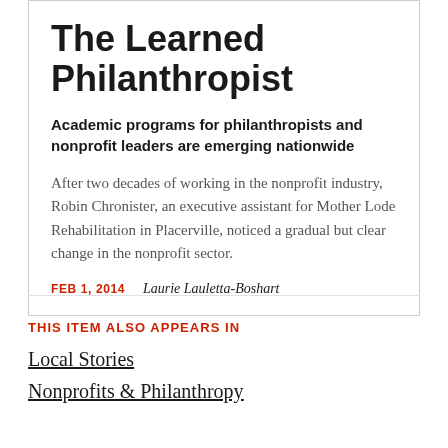The Learned Philanthropist
Academic programs for philanthropists and nonprofit leaders are emerging nationwide
After two decades of working in the nonprofit industry, Robin Chronister, an executive assistant for Mother Lode Rehabilitation in Placerville, noticed a gradual but clear change in the nonprofit sector.
FEB 1, 2014   Laurie Lauletta-Boshart
THIS ITEM ALSO APPEARS IN
Local Stories
Nonprofits & Philanthropy